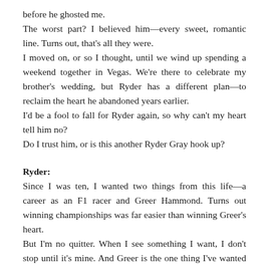before he ghosted me.
The worst part? I believed him—every sweet, romantic line. Turns out, that's all they were.
I moved on, or so I thought, until we wind up spending a weekend together in Vegas. We're there to celebrate my brother's wedding, but Ryder has a different plan—to reclaim the heart he abandoned years earlier.
I'd be a fool to fall for Ryder again, so why can't my heart tell him no?
Do I trust him, or is this another Ryder Gray hook up?
Ryder:
Since I was ten, I wanted two things from this life—a career as an F1 racer and Greer Hammond. Turns out winning championships was far easier than winning Greer's heart.
But I'm no quitter. When I see something I want, I don't stop until it's mine. And Greer is the one thing I've wanted for twenty years.